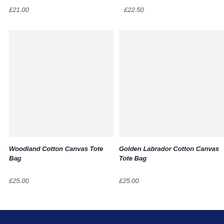£21.00
£22.50
[Figure (photo): Product image placeholder (light grey rectangle) for Woodland Cotton Canvas Tote Bag]
[Figure (photo): Product image placeholder (light grey rectangle) for Golden Labrador Cotton Canvas Tote Bag]
Woodland Cotton Canvas Tote Bag
£25.00
Golden Labrador Cotton Canvas Tote Bag
£25.00